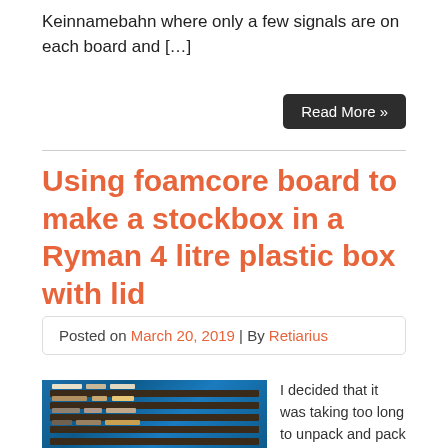Keinnamebahn where only a few signals are on each board and […]
Read More »
Using foamcore board to make a stockbox in a Ryman 4 litre plastic box with lid
Posted on March 20, 2019 | By Retiarius
[Figure (photo): Photo of a blue plastic storage box with shelves holding model railway rolling stock]
I decided that it was taking too long to unpack and pack my rolling stock at exhibitions by having to use the manufacturers